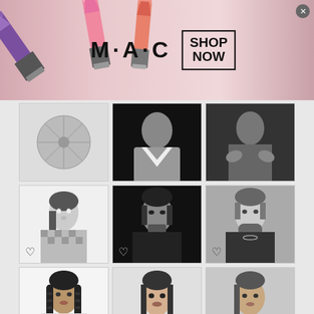[Figure (screenshot): MAC Cosmetics advertisement banner with lipsticks on left and right, MAC logo in center, SHOP NOW box with close button]
[Figure (photo): 3x2 grid of black and white portrait photos of actors/celebrities with heart checkmark icons]
We are using cookies to give you the best experience on our
[Figure (screenshot): Amazon.com advertisement banner: Amazon.com: Online Shopping for Everyone. Shop at Amazon. Free Shipping with Prime. Best Deals Ever! amazon.com]